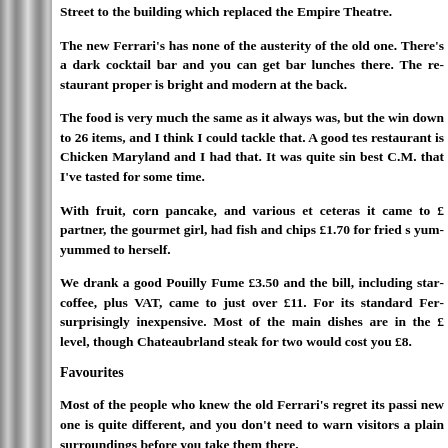Street to the building which replaced the Empire Theatre.
The new Ferrari's has none of the austerity of the old one. There's a dark cocktail bar and you can get bar lunches there. The restaurant proper is bright and modern at the back.
The food is very much the same as it always was, but the wine list is down to 26 items, and I think I could tackle that. A good test of any restaurant is Chicken Maryland and I had that. It was quite simply the best C.M. that I've tasted for some time.
With fruit, corn pancake, and various et ceteras it came to £... My partner, the gourmet girl, had fish and chips £1.70 for fried sole and yum-yummed to herself.
We drank a good Pouilly Fume £3.50 and the bill, including starter and coffee, plus VAT, came to just over £11. For its standard Ferrari's is surprisingly inexpensive. Most of the main dishes are in the £ level, though Chateaubrland steak for two would cost you £8.
Favourites
Most of the people who knew the old Ferrari's regret its passing. The new one is quite different, and you don't need to warn visitors about plain surroundings before you take them there.